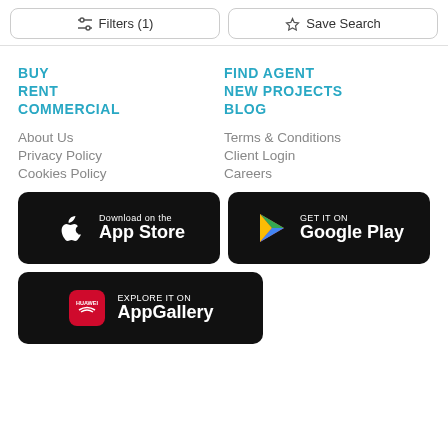Filters (1) | Save Search
BUY
FIND AGENT
RENT
NEW PROJECTS
COMMERCIAL
BLOG
About Us
Terms & Conditions
Privacy Policy
Client Login
Cookies Policy
Careers
[Figure (logo): Download on the App Store badge (black)]
[Figure (logo): GET IT ON Google Play badge (black)]
[Figure (logo): EXPLORE IT ON AppGallery badge (black, Huawei)]